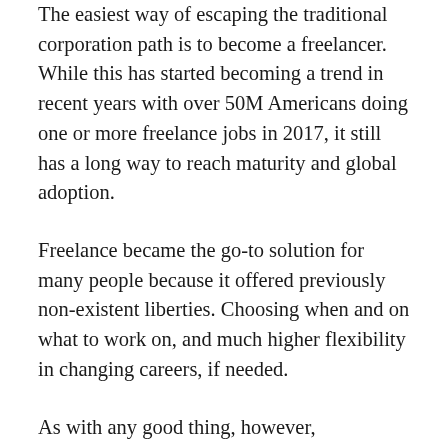The easiest way of escaping the traditional corporation path is to become a freelancer. While this has started becoming a trend in recent years with over 50M Americans doing one or more freelance jobs in 2017, it still has a long way to reach maturity and global adoption.
Freelance became the go-to solution for many people because it offered previously non-existent liberties. Choosing when and on what to work on, and much higher flexibility in changing careers, if needed.
As with any good thing, however, freelancing has some less pleasant facets as well, with the biggest one being the fact that freelancing is currently done through completely centralized platforms. Quite the irony we have there. While these platforms give freelancers more freedom than they'd traditionally have as employees when a conflict arises it gets judged by a member of the organization. As a result,